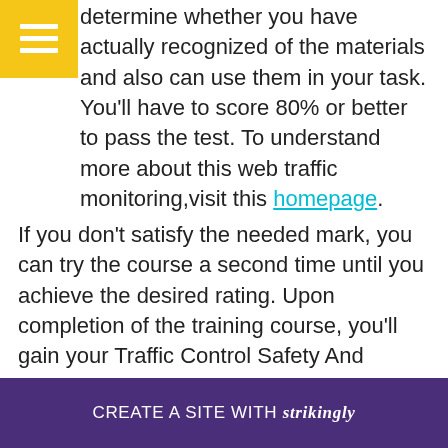[Figure (other): Yellow hamburger menu button in top-left corner]
determine whether you have actually recognized of the materials and also can use them in your task. You'll have to score 80% or better to pass the test. To understand more about this web traffic monitoring,visit this homepage.
If you don't satisfy the needed mark, you can try the course a second time until you achieve the desired rating. Upon completion of the training course, you'll gain your Traffic Control Safety And Security Training Certification. An additional terrific training tool for air traffic controllers is a video clip course. The video training course will show [ices for w w to
[Figure (other): Purple banner at bottom: CREATE A SITE WITH strikingly]